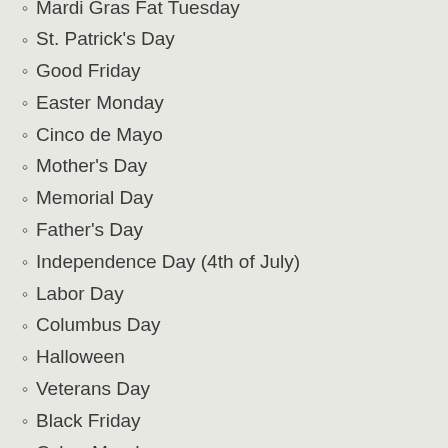Mardi Gras Fat Tuesday
St. Patrick's Day
Good Friday
Easter Monday
Cinco de Mayo
Mother's Day
Memorial Day
Father's Day
Independence Day (4th of July)
Labor Day
Columbus Day
Halloween
Veterans Day
Black Friday
Cyber Monday